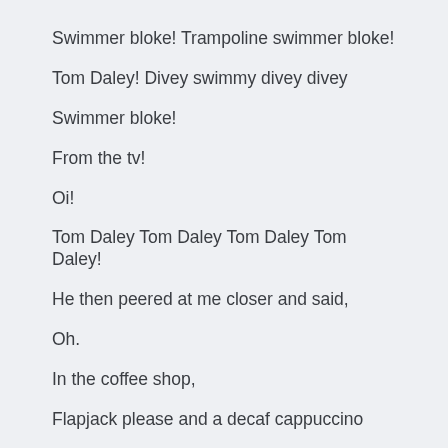Swimmer bloke! Trampoline swimmer bloke!
Tom Daley! Divey swimmy divey divey
Swimmer bloke!
From the tv!
Oi!
Tom Daley Tom Daley Tom Daley Tom Daley!
He then peered at me closer and said,
Oh.
In the coffee shop,
Flapjack please and a decaf cappuccino